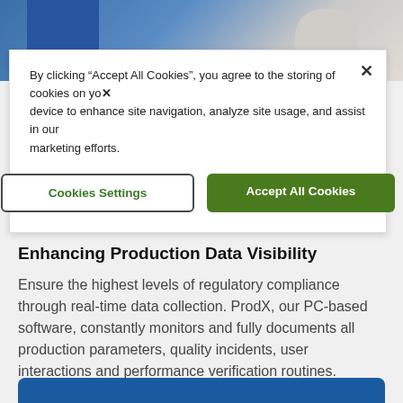[Figure (photo): Partial photo of two people in a professional/lab setting, one wearing blue clothing on the left and another in white on the right, cropped at the top of the page.]
By clicking “Accept All Cookies”, you agree to the storing of cookies on your device to enhance site navigation, analyze site usage, and assist in our marketing efforts.
Cookies Settings
Accept All Cookies
Enhancing Production Data Visibility
Ensure the highest levels of regulatory compliance through real-time data collection. ProdX, our PC-based software, constantly monitors and fully documents all production parameters, quality incidents, user interactions and performance verification routines.